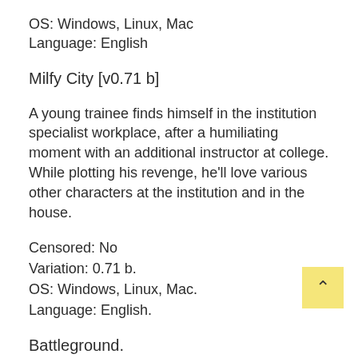OS: Windows, Linux, Mac
Language: English
Milfy City [v0.71 b]
A young trainee finds himself in the institution specialist workplace, after a humiliating moment with an additional instructor at college. While plotting his revenge, he’ll love various other characters at the institution and in the house.
Censored: No
Variation: 0.71 b.
OS: Windows, Linux, Mac.
Language: English.
Battleground.